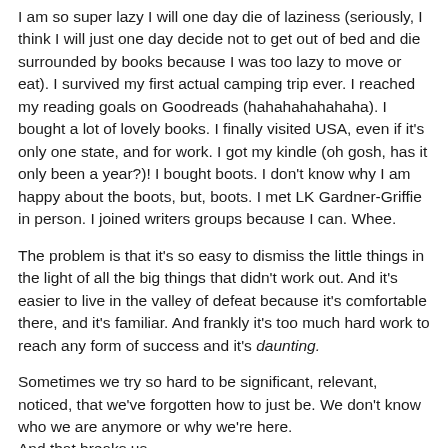I am so super lazy I will one day die of laziness (seriously, I think I will just one day decide not to get out of bed and die surrounded by books because I was too lazy to move or eat). I survived my first actual camping trip ever. I reached my reading goals on Goodreads (hahahahahahaha). I bought a lot of lovely books. I finally visited USA, even if it's only one state, and for work. I got my kindle (oh gosh, has it only been a year?)! I bought boots. I don't know why I am happy about the boots, but, boots. I met LK Gardner-Griffie in person. I joined writers groups because I can. Whee.
The problem is that it's so easy to dismiss the little things in the light of all the big things that didn't work out. And it's easier to live in the valley of defeat because it's comfortable there, and it's familiar. And frankly it's too much hard work to reach any form of success and it's daunting.
Sometimes we try so hard to be significant, relevant, noticed, that we've forgotten how to just be. We don't know who we are anymore or why we're here.
And that breaks us.
In more ways than we can imagine.